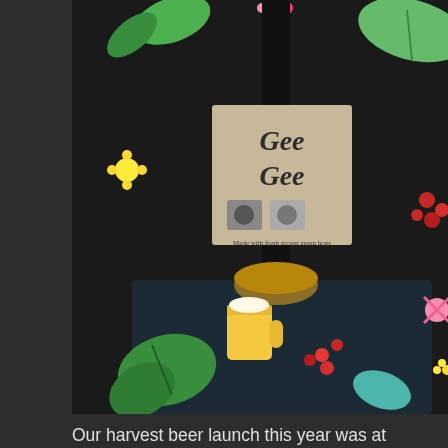[Figure (photo): Photo of a beer tap handle with a card reading 'Gee Gee' with decorative lettering and logos, sitting on a dark bar surface with a beer mug emoji visible. Background has colorful floral/leaf decorations including green leaves, pink flowers, yellow dandelions, and red berries.]
Our harvest beer launch this year was at Nomadic Beers on Saturday 6th October.
The beer, a 4.5% pale called GeeGee after Nomadic's delivery van The Green Goddess, was made using 8.25kg of Cascade hops grown by the Leeds Co-Hoperative. The event was a great success and the beer